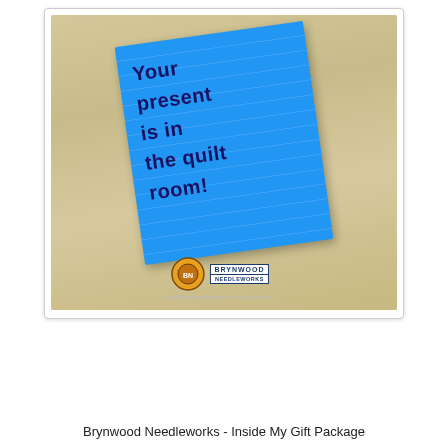[Figure (photo): A photograph of a blue lined notepad paper resting on a wood-grain table surface. The note is handwritten and reads: 'Your present is in the quilt room!' with a Brynwood Needleworks logo and website URL visible in the bottom corner of the image.]
Brynwood Needleworks - Inside My Gift Package